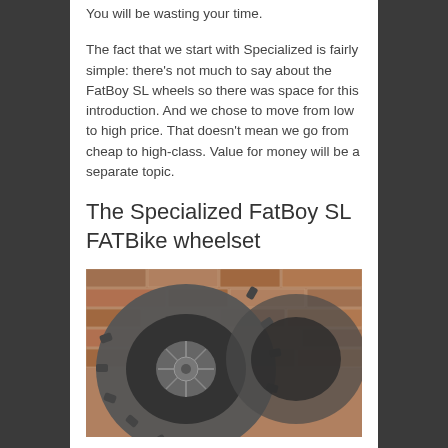You will be wasting your time.
The fact that we start with Specialized is fairly simple: there's not much to say about the FatBoy SL wheels so there was space for this introduction. And we chose to move from low to high price. That doesn't mean we go from cheap to high-class. Value for money will be a separate topic.
The Specialized FatBoy SL FATBike wheelset
[Figure (photo): Close-up photo of a Specialized FatBoy SL fat bike wheel with knobby tires leaning against a brick wall background]